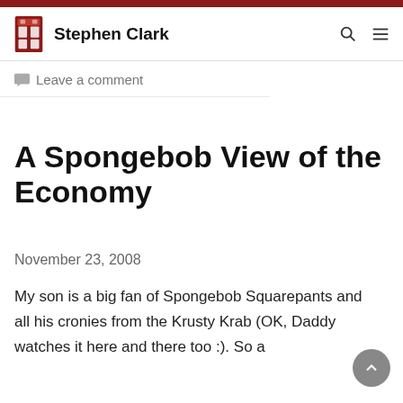Stephen Clark
Leave a comment
A Spongebob View of the Economy
November 23, 2008
My son is a big fan of Spongebob Squarepants and all his cronies from the Krusty Krab (OK, Daddy watches it here and there too :). So a